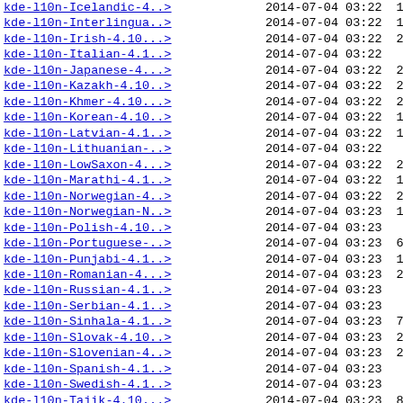kde-l10n-Icelandic-4..> 2014-07-04 03:22 1.6M
kde-l10n-Interlingua..> 2014-07-04 03:22 1.5M
kde-l10n-Irish-4.10...> 2014-07-04 03:22 2.4M
kde-l10n-Italian-4.1..> 2014-07-04 03:22 10M
kde-l10n-Japanese-4...> 2014-07-04 03:22 2.1M
kde-l10n-Kazakh-4.10..> 2014-07-04 03:22 2.7M
kde-l10n-Khmer-4.10...> 2014-07-04 03:22 2.3M
kde-l10n-Korean-4.10..> 2014-07-04 03:22 1.6M
kde-l10n-Latvian-4.1..> 2014-07-04 03:22 1.9M
kde-l10n-Lithuanian-..> 2014-07-04 03:22 12M
kde-l10n-LowSaxon-4...> 2014-07-04 03:22 2.9M
kde-l10n-Marathi-4.1..> 2014-07-04 03:22 1.2M
kde-l10n-Norwegian-4..> 2014-07-04 03:22 2.9M
kde-l10n-Norwegian-N..> 2014-07-04 03:23 1.9M
kde-l10n-Polish-4.10..> 2014-07-04 03:23 16M
kde-l10n-Portuguese-..> 2014-07-04 03:23 6.4M
kde-l10n-Punjabi-4.1..> 2014-07-04 03:23 1.3M
kde-l10n-Romanian-4...> 2014-07-04 03:23 2.6M
kde-l10n-Russian-4.1..> 2014-07-04 03:23 23M
kde-l10n-Serbian-4.1..> 2014-07-04 03:23 12M
kde-l10n-Sinhala-4.1..> 2014-07-04 03:23 704K
kde-l10n-Slovak-4.10..> 2014-07-04 03:23 2.3M
kde-l10n-Slovenian-4..> 2014-07-04 03:23 2.5M
kde-l10n-Spanish-4.1..> 2014-07-04 03:23 23M
kde-l10n-Swedish-4.1..> 2014-07-04 03:23 16M
kde-l10n-Tajik-4.10...> 2014-07-04 03:23 866K
kde-l10n-Thai-4.10.5..> 2014-07-04 03:24 1.2M
kde-l10n-Turkish-4.1..> 2014-07-04 03:24 3.7M
kde-l10n-Ukrainian-4..> 2014-07-04 03:24 27M
kde-l10n-Uyghur-4.10..> 2014-07-04 03:24 1.2M
kde-l10n-Vietnamese-..> 2014-07-04 03:24 539K